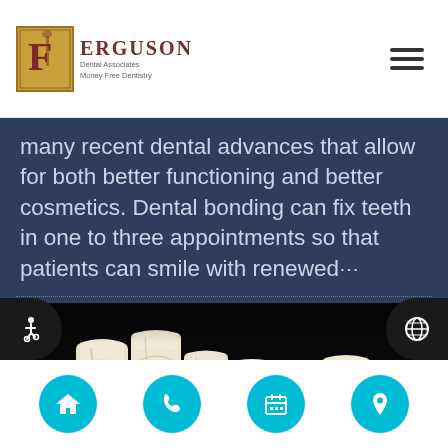Ferguson Dental Associates - Money Free Dentistry
many recent dental advances that allow for both better functioning and better cosmetics. Dental bonding can fix teeth in one to three appointments so that patients can smile with renewed…
[Figure (illustration): 3D medical illustration of dental implants being placed in lower jaw, showing teeth, gums, and implant posts]
Navigation bar with home, phone, calendar, and location icons